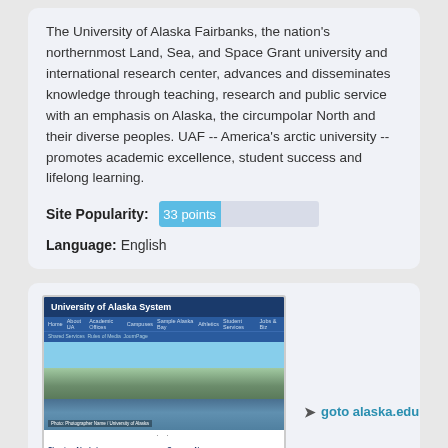The University of Alaska Fairbanks, the nation's northernmost Land, Sea, and Space Grant university and international research center, advances and disseminates knowledge through teaching, research and public service with an emphasis on Alaska, the circumpolar North and their diverse peoples. UAF -- America's arctic university -- promotes academic excellence, student success and lifelong learning.
Site Popularity: 33 points
Language: English
[Figure (screenshot): Screenshot of the University of Alaska System website showing the blue header navigation bar, a scenic Alaska mountain landscape photograph, and the bottom section with 'Shaping Alaska's Future' and 'Campus News' columns and an 'awarded' badge.]
goto alaska.edu
UA System | University of Alaska System